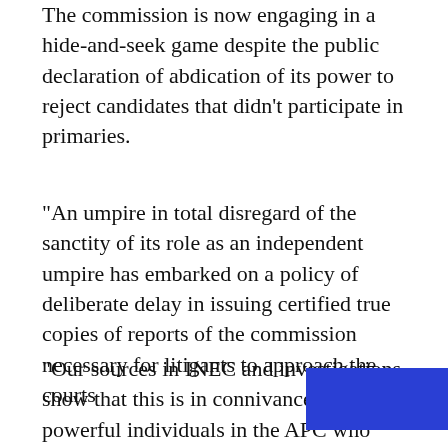The commission is now engaging in a hide-and-seek game despite the public declaration of abdication of its power to reject candidates that didn't participate in primaries.
“An umpire in total disregard of the sanctity of its role as an independent umpire has embarked on a policy of deliberate delay in issuing certified true copies of reports of the commission necessary for litigants to approach the courts
“Our sources in INEC and investigations show that this is in connivance with powerful individuals in the APC who already bought their ways in the commission in order to frustrate the cour… all of this is happening under the direct watch of the INEC Chairman
[Figure (other): NEXT button overlay with double chevron arrow in blue]